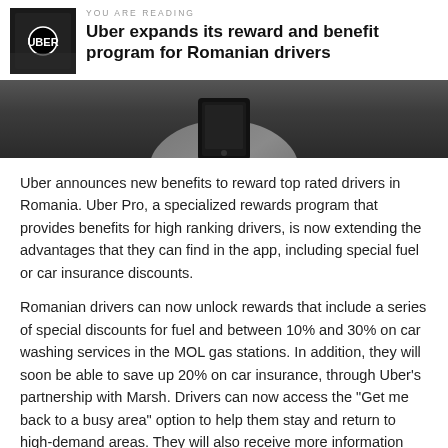YOU ARE READING
Uber expands its reward and benefit program for Romanian drivers
[Figure (photo): Close-up photo of a hand holding a smartphone, dark background]
Uber announces new benefits to reward top rated drivers in Romania. Uber Pro, a specialized rewards program that provides benefits for high ranking drivers, is now extending the advantages that they can find in the app, including special fuel or car insurance discounts.
Romanian drivers can now unlock rewards that include a series of special discounts for fuel and between 10% and 30% on car washing services in the MOL gas stations. In addition, they will soon be able to save up 20% on car insurance, through Uber's partnership with Marsh. Drivers can now access the "Get me back to a busy area" option to help them stay and return to high-demand areas. They will also receive more information about the distance and